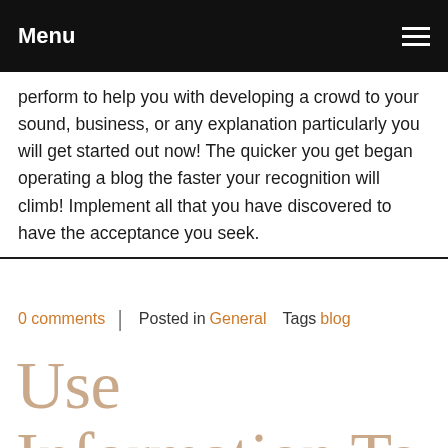Menu
perform to help you with developing a crowd to your sound, business, or any explanation particularly you will get started out now! The quicker you get began operating a blog the faster your recognition will climb! Implement all that you have discovered to have the acceptance you seek.
0 comments   Posted in General   Tags blog
Use Information To Work With When You Find Yourself Running a